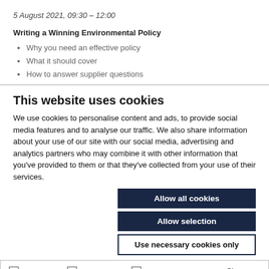5 August 2021, 09:30 – 12:00
Writing a Winning Environmental Policy
Why you need an effective policy
What it should cover
How to answer supplier questions
This website uses cookies
We use cookies to personalise content and ads, to provide social media features and to analyse our traffic. We also share information about your use of our site with our social media, advertising and analytics partners who may combine it with other information that you've provided to them or that they've collected from your use of their services.
Allow all cookies
Allow selection
Use necessary cookies only
Necessary  Preferences  Statistics  Marketing  Show details